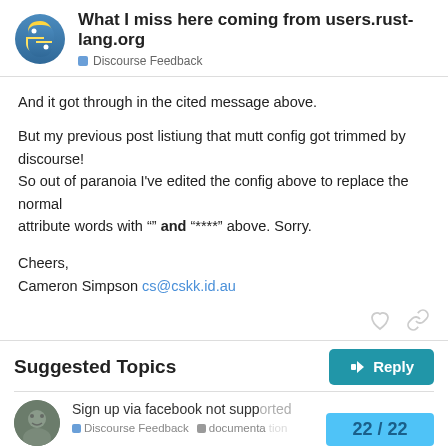What I miss here coming from users.rust-lang.org — Discourse Feedback
And it got through in the cited message above.
But my previous post listiung that mutt config got trimmed by discourse!
So out of paranoia I've edited the config above to replace the normal
attribute words with "" and "****" above. Sorry.
Cheers,
Cameron Simpson cs@cskk.id.au
Suggested Topics
Sign up via facebook not supp...
Discourse Feedback  documentation
22 / 22